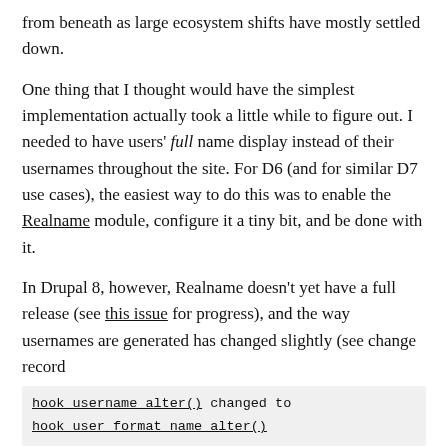from beneath as large ecosystem shifts have mostly settled down.
One thing that I thought would have the simplest implementation actually took a little while to figure out. I needed to have users' full name display instead of their usernames throughout the site. For D6 (and for similar D7 use cases), the easiest way to do this was to enable the Realname module, configure it a tiny bit, and be done with it.
In Drupal 8, however, Realname doesn't yet have a full release (see this issue for progress), and the way usernames are generated has changed slightly (see change record hook_username_alter() changed to hook_user_format_name_alter() ).
So it took a few minutes' fiddling around before I came up with the following hook implementation that reformats the user's display name using a 'Name' field (machine name field_name ) added to the user entity (you can add the field at